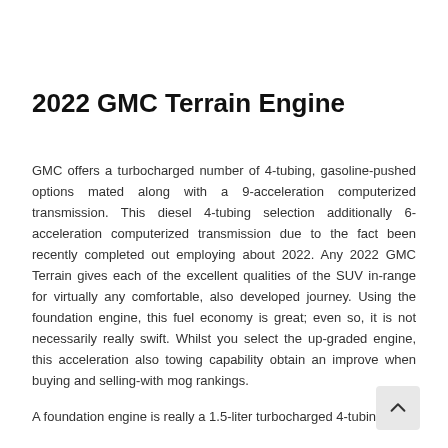2022 GMC Terrain Engine
GMC offers a turbocharged number of 4-tubing, gasoline-pushed options mated along with a 9-acceleration computerized transmission. This diesel 4-tubing selection additionally 6-acceleration computerized transmission due to the fact been recently completed out employing about 2022. Any 2022 GMC Terrain gives each of the excellent qualities of the SUV in-range for virtually any comfortable, also developed journey. Using the foundation engine, this fuel economy is great; even so, it is not necessarily really swift. Whilst you select the up-graded engine, this acceleration also towing capability obtain an improve when buying and selling-with mog rankings.
A foundation engine is really a 1.5-liter turbocharged 4-tubing,